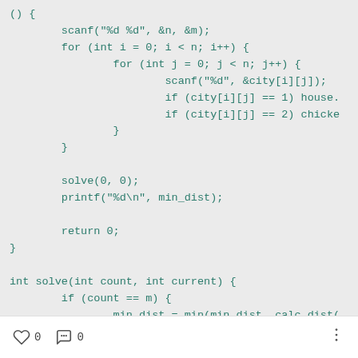() {
        scanf("%d %d", &n, &m);
        for (int i = 0; i < n; i++) {
                for (int j = 0; j < n; j++) {
                        scanf("%d", &city[i][j]);
                        if (city[i][j] == 1) house.
                        if (city[i][j] == 2) chicke
                }
        }

        solve(0, 0);
        printf("%d\n", min_dist);

        return 0;
}

int solve(int count, int current) {
        if (count == m) {
                min_dist = min(min_dist, calc_dist(
                return 0;
        }
        }
0   0   ⋮